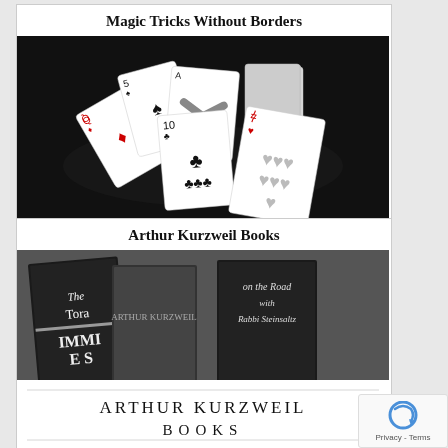Magic Tricks Without Borders
[Figure (photo): Black and white photo of playing cards spread out on a dark background, showing various cards including the Queen of Diamonds, 10 of clubs, 7 of hearts, and other cards fanned out.]
Arthur Kurzweil Books
[Figure (photo): Photo showing book covers including 'The Torah for Dummies', 'On the Road with Rabbi Steinsaltz', and the Arthur Kurzweil Books logo with decorative text.]